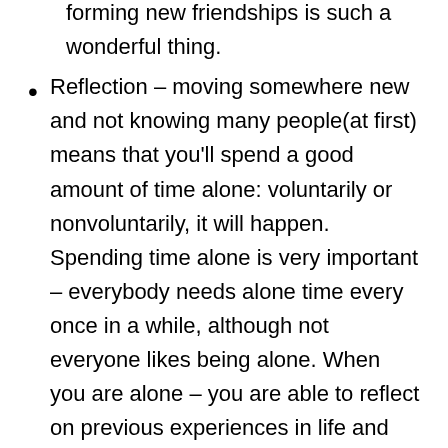that everyone understands and forming new friendships is such a wonderful thing.
Reflection – moving somewhere new and not knowing many people(at first) means that you'll spend a good amount of time alone: voluntarily or nonvoluntarily, it will happen. Spending time alone is very important – everybody needs alone time every once in a while, although not everyone likes being alone. When you are alone – you are able to reflect on previous experiences in life and can truly be alone with your thoughts. Although many of us try to be the best person we can be – we unfortunately aren't always going to do or say the right things all the time. We are human and